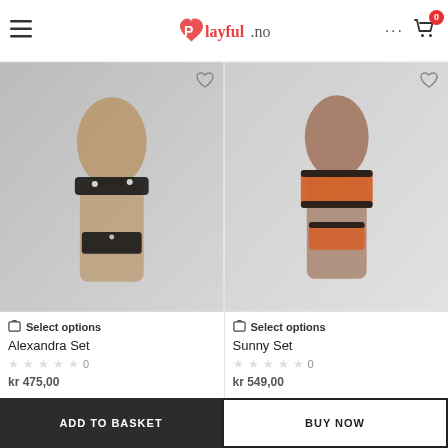Playful.no
[Figure (photo): Woman wearing black lace lingerie set (Alexandra Set) - bra, garter belt and stockings, posing in studio]
Select options
Alexandra Set
0
[Figure (photo): Woman wearing orange and black satin lingerie set (Sunny Set) - camisole top and shorts, posing in studio]
Select options
Sunny Set
0
ADD TO BASKET
BUY NOW